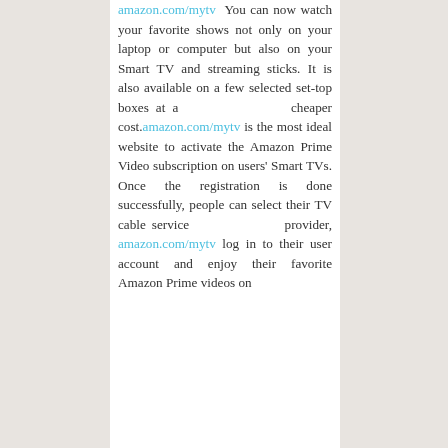amazon.com/mytv You can now watch your favorite shows not only on your laptop or computer but also on your Smart TV and streaming sticks. It is also available on a few selected set-top boxes at a cheaper cost.amazon.com/mytv is the most ideal website to activate the Amazon Prime Video subscription on users' Smart TVs. Once the registration is done successfully, people can select their TV cable service provider, amazon.com/mytv log in to their user account and enjoy their favorite Amazon Prime videos on